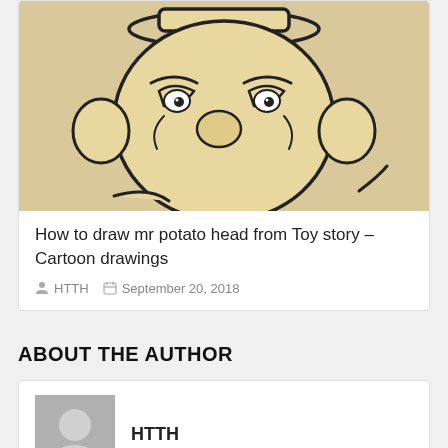[Figure (illustration): Cartoon drawing of Mr. Potato Head from Toy Story on a beige/cream background. The character has large droopy eyes, a wide nose, and round ears, wearing a small hat on top.]
How to draw mr potato head from Toy story – Cartoon drawings
HTTH   September 20, 2018
ABOUT THE AUTHOR
HTTH